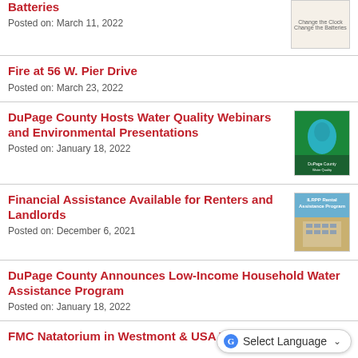Batteries
Posted on: March 11, 2022
Fire at 56 W. Pier Drive
Posted on: March 23, 2022
DuPage County Hosts Water Quality Webinars and Environmental Presentations
Posted on: January 18, 2022
Financial Assistance Available for Renters and Landlords
Posted on: December 6, 2021
DuPage County Announces Low-Income Household Water Assistance Program
Posted on: January 18, 2022
FMC Natatorium in Westmont USA TYR PRO Swim Event